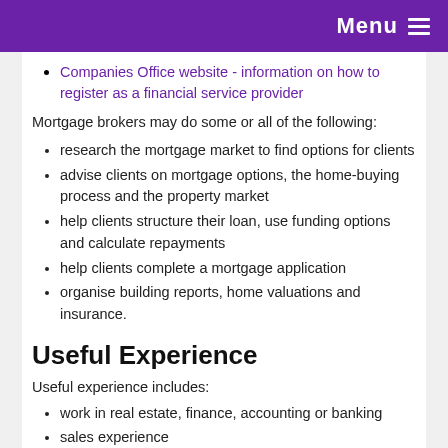Menu
Companies Office website - information on how to register as a financial service provider
Mortgage brokers may do some or all of the following:
research the mortgage market to find options for clients
advise clients on mortgage options, the home-buying process and the property market
help clients structure their loan, use funding options and calculate repayments
help clients complete a mortgage application
organise building reports, home valuations and insurance.
Useful Experience
Useful experience includes:
work in real estate, finance, accounting or banking
sales experience